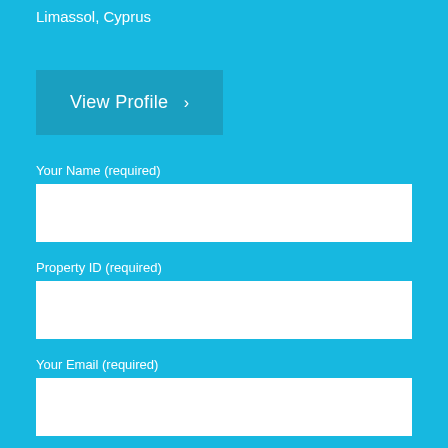Limassol, Cyprus
View Profile  ›
Your Name (required)
Property ID (required)
Your Email (required)
Your Message